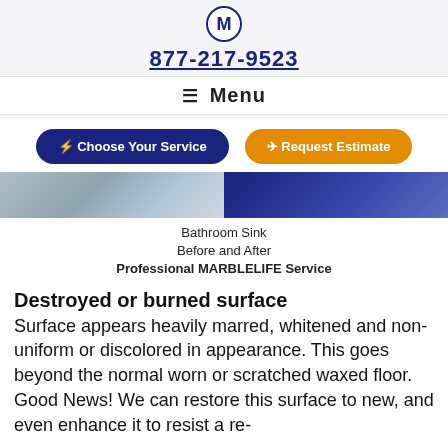M  877-217-9523  ☰ Menu
⚡ Choose Your Service   ✈ Request Estimate
[Figure (photo): Split before and after image of a bathroom sink surface — left side shows dull/marred surface, right side shows polished/restored dark surface]
Bathroom Sink
Before and After
Professional MARBLELIFE Service
Destroyed or burned surface
Surface appears heavily marred, whitened and non-uniform or discolored in appearance. This goes beyond the normal worn or scratched waxed floor. Good News! We can restore this surface to new, and even enhance it to resist a re-